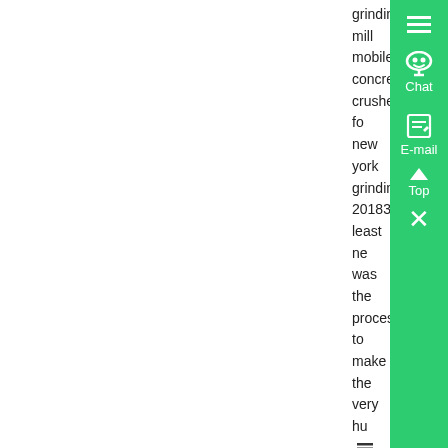grinding mill mobile concrete crusher for new york grinding 201836gulin least new was the process to make the very hu
e more assistant mines managr job in laffarge cement mobile...
concrete crusher for rent new york - Know More
[Figure (photo): Industrial concrete crusher machine in a factory/warehouse setting]
Jul 18 2014 mobile concrete crusher for new york XSM is a leading global manu of crushing and milling equipment mob concrete crusher for rent new yorkXSM portable rock crusher rentals in new yo
elated Products portable concrete crusher rental in georgia Concrete Cru uipmentused concrete crushing machine cos...
mobile concrete crusher rent new york - Know More
[Figure (photo): Blue mobile concrete crusher machine]
Concrete Crusher Rental In New